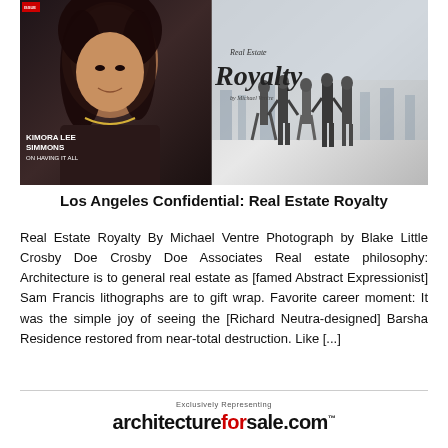[Figure (photo): Magazine spread composite: left side shows a woman (Kimora Lee Simmons) with text 'KIMORA LEE SIMMONS ON HAVING IT ALL'; right side shows 'Real Estate Royalty' article header with silhouettes of people on a rooftop]
Los Angeles Confidential: Real Estate Royalty
Real Estate Royalty By Michael Ventre Photograph by Blake Little Crosby Doe Crosby Doe Associates Real estate philosophy: Architecture is to general real estate as [famed Abstract Expressionist] Sam Francis lithographs are to gift wrap. Favorite career moment: It was the simple joy of seeing the [Richard Neutra-designed] Barsha Residence restored from near-total destruction. Like [...]
Exclusively Representing architectureforsale.com